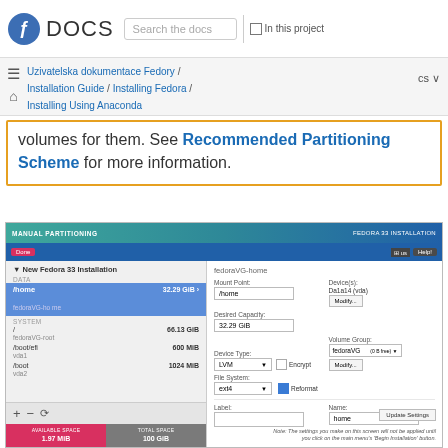DOCS | Search the docs | In this project
Uzivatelska dokumentace Fedory / Installation Guide / Installing Fedora / Installing Using Anaconda | cs
volumes for them. See Recommended Partitioning Scheme for more information.
[Figure (screenshot): Fedora 33 Manual Partitioning screen showing /home partition selected with 32.29 GiB, fedoraVG-home. Left panel shows DATA section with /home 32.29 GiB and SYSTEM section with / 66.13 GiB, /boot/efi 600 MiB, /boot 1024 MiB. Right panel shows Mount Point: /home, Desired Capacity: 32.29 GiB, Device Type: LVM, Encrypt checkbox, Volume Group: fedoraVG, File System: ext4, Reformat checked, Label empty, Name: home. Available space: 1.97 MiB, Total space: 100 GiB.]